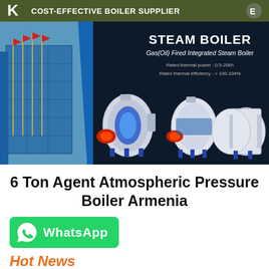COST-EFFECTIVE BOILER SUPPLIER
[Figure (photo): Steam boiler product banner image showing dark navy background with building/flagpoles on left and three gas/oil fired integrated steam boilers displayed, with text: STEAM BOILER, Gas(Oil) Fired Integrated Steam Boiler, Rated thermal power: 0.5-20t/h, Rated thermal efficiency: >100-104%]
6 Ton Agent Atmospheric Pressure Boiler Armenia
[Figure (logo): WhatsApp button with phone icon and WhatsApp text in green]
Hot News